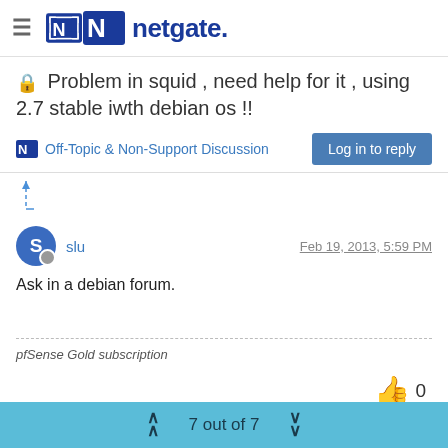netgate.
Problem in squid , need help for it , using 2.7 stable iwth debian os !!
Off-Topic & Non-Support Discussion
Log in to reply
slu  Feb 19, 2013, 5:59 PM
Ask in a debian forum.
pfSense Gold subscription
7 out of 7